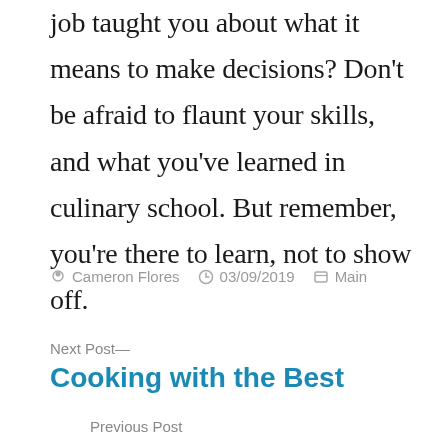job taught you about what it means to make decisions? Don't be afraid to flaunt your skills, and what you've learned in culinary school. But remember, you're there to learn, not to show off.
Cameron Flores   03/09/2019   Main
Next Post— Cooking with the Best
Previous Post